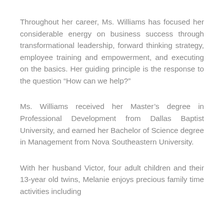Throughout her career, Ms. Williams has focused her considerable energy on business success through transformational leadership, forward thinking strategy, employee training and empowerment, and executing on the basics. Her guiding principle is the response to the question “How can we help?”
Ms. Williams received her Master’s degree in Professional Development from Dallas Baptist University, and earned her Bachelor of Science degree in Management from Nova Southeastern University.
With her husband Victor, four adult children and their 13-year old twins, Melanie enjoys precious family time activities including...